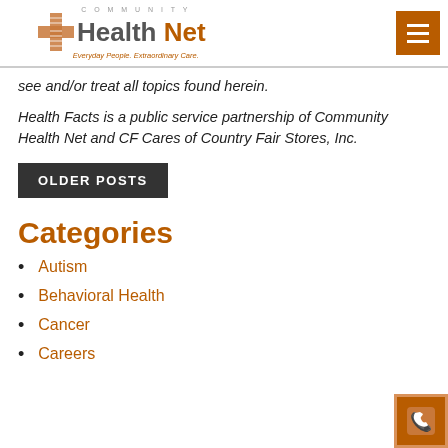[Figure (logo): Community Health Net logo with orange cross icon, 'Health Net' text in dark and orange, tagline 'Everyday People. Extraordinary Care.']
[Figure (other): Orange hamburger menu button in top right corner]
see and/or treat all topics found herein.
Health Facts is a public service partnership of Community Health Net and CF Cares of Country Fair Stores, Inc.
OLDER POSTS
Categories
Autism
Behavioral Health
Cancer
Careers